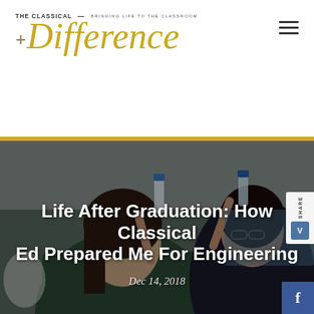THE CLASSICAL DIFFERENCE — BRINGING LIFE TO THE CLASSROOM
[Figure (photo): Two female students in a science lab holding up small vials of liquid, examining them. One student wears a green lab coat. Background shows a classroom/lab setting.]
Life After Graduation: How Classical Ed Prepared Me For Engineering
Dec 14, 2018